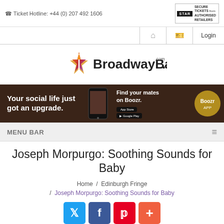Ticket Hotline: +44 (0) 207 492 1606
[Figure (logo): STAR - Secure Tickets from Authorised Retailers badge]
[Figure (logo): BroadwayBaby.com logo with star graphic]
[Figure (infographic): Boozr app advertisement banner: 'Your social life just got an upgrade. Find your mates on Boozr.' with App Store and Google Play buttons]
MENU BAR
Joseph Morpurgo: Soothing Sounds for Baby
Home / Edinburgh Fringe / Joseph Morpurgo: Soothing Sounds for Baby
[Figure (infographic): Social sharing buttons: Twitter, Facebook, Pinterest, Plus]